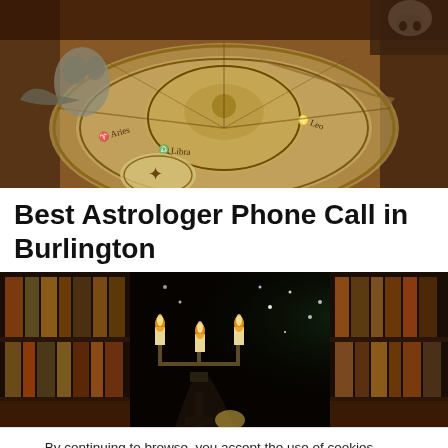[Figure (photo): Top-down view of a mystical zodiac/astrology circular floor mosaic in a dark dungeon-like room with stone pillars and a skull visible in the corner. The circular design features concentric rings with astrological symbols and writing.]
Best Astrologer Phone Call in Burlington
[Figure (photo): Dark mystical library scene with bookshelves filled with old books, candles on a candelabra casting warm light, and magical sparkles/stars floating in the air.]
By continuing to browse, you accept the use of cookies necessary for the proper functioning of the site.